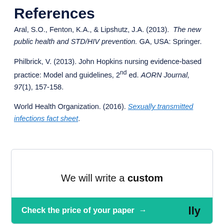References
Aral, S.O., Fenton, K.A., & Lipshutz, J.A. (2013). The new public health and STD/HIV prevention. GA, USA: Springer.
Philbrick, V. (2013). John Hopkins nursing evidence-based practice: Model and guidelines, 2nd ed. AORN Journal, 97(1), 157-158.
World Health Organization. (2016). Sexually transmitted infections fact sheet.
We will write a custom
Check the price of your paper → lly